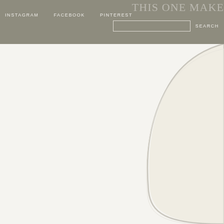INSTAGRAM   FACEBOOK   PINTEREST   SEARCH
[Figure (photo): Partial view of a round arched mirror or decorative object with a thin silver/chrome frame against a light off-white/cream background. The mirror occupies the right portion of the image, showing a curved arch shape.]
THIS ONE MAKE